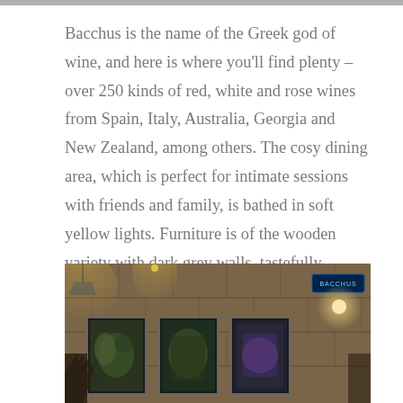[Figure (photo): Partial view of a cropped image at the very top of the page, showing a thin strip of a photo]
Bacchus is the name of the Greek god of wine, and here is where you'll find plenty – over 250 kinds of red, white and rose wines from Spain, Italy, Australia, Georgia and New Zealand, among others. The cosy dining area, which is perfect for intimate sessions with friends and family, is bathed in soft yellow lights. Furniture is of the wooden variety with dark grey walls, tastefully decorated with wine bottles and crates.
[Figure (photo): Interior of the Bacchus wine bar showing dark stone walls, framed menu boards or artwork lit with warm yellow lighting, and a neon sign visible in the upper right corner]